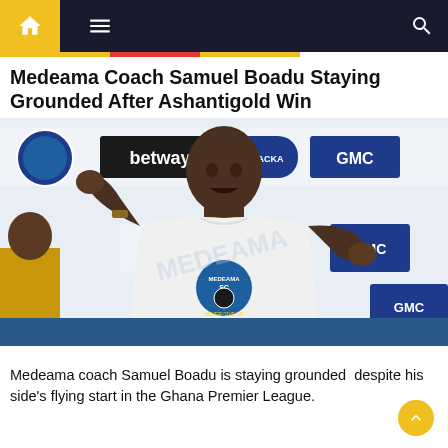Navigation bar with home, menu, and search icons
Medeama Coach Samuel Boadu Staying Grounded After Ashantigold Win
[Figure (photo): Samuel Boadu, Medeama SC coach, speaking at a press conference wearing a white Medeama SC 'Never Give Up' t-shirt, gesturing with both hands, with sponsor banners (betway, GMC, MPACKA, Medeama SC) visible in the background.]
Medeama coach Samuel Boadu is staying grounded  despite his side's flying start in the Ghana Premier League.